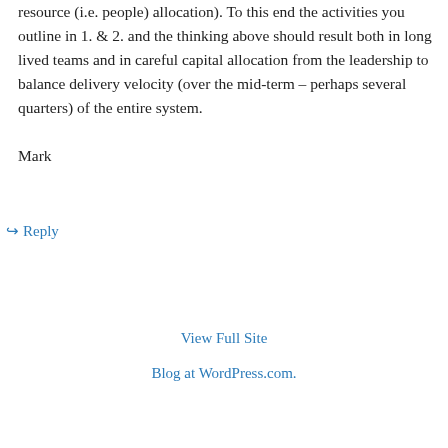resource (i.e. people) allocation). To this end the activities you outline in 1. & 2. and the thinking above should result both in long lived teams and in careful capital allocation from the leadership to balance delivery velocity (over the mid-term – perhaps several quarters) of the entire system.

Mark
↳ Reply
View Full Site
Blog at WordPress.com.